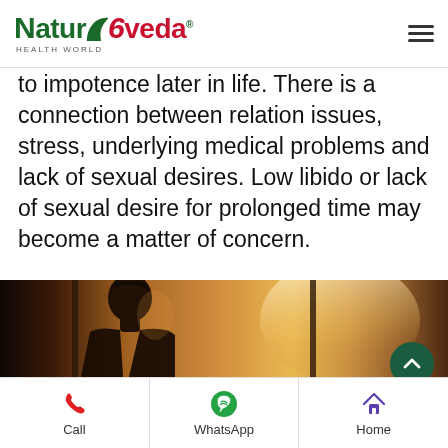Naturoveda HEALTH WORLD
to impotence later in life. There is a connection between relation issues, stress, underlying medical problems and lack of sexual desires. Low libido or lack of sexual desire for prolonged time may become a matter of concern.
[Figure (photo): A man silhouetted against a warm golden backlit window, looking downward in a contemplative pose.]
Call | WhatsApp | Home